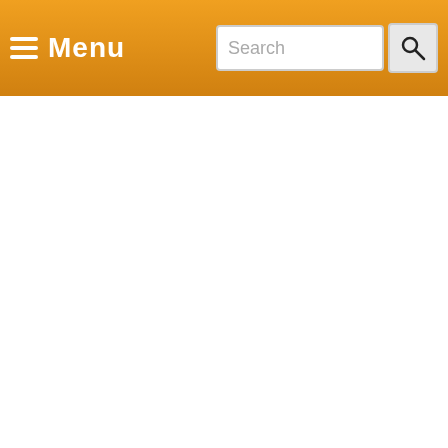Menu | Search
[Figure (screenshot): White empty content area below the navigation bar]